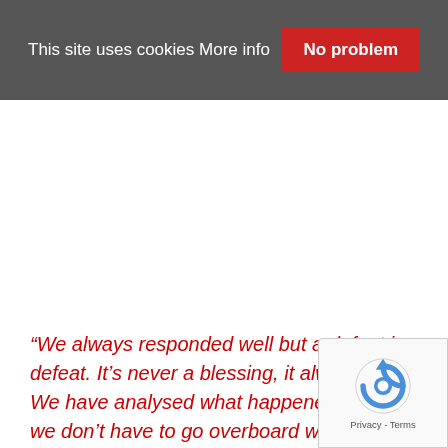This site uses cookies More info    No problem
“We always responded well but a defeat is a defeat. It’s never a blessing, it always hurts. We have analysed what happened to us but we don’t have to go overboard with what happened.”
[Figure (logo): reCAPTCHA badge with Privacy and Terms links]